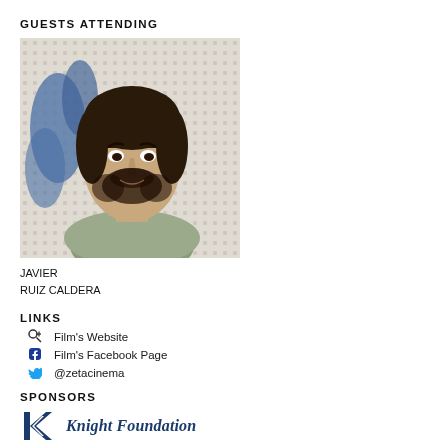GUESTS ATTENDING
[Figure (photo): Headshot photo of Javier Ruiz Caldera, a man with dark hair and beard, wearing a light green shirt, in front of a patterned background with blue decorative element]
JAVIER
RUIZ CALDERA
LINKS
Film's Website
Film's Facebook Page
@zetacinema
SPONSORS
[Figure (logo): Knight Foundation logo with stylized K icon and text 'Knight Foundation' in dark blue italic serif font]